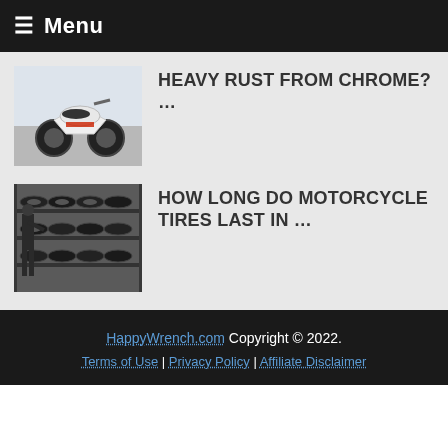≡ Menu
[Figure (photo): Motorcycle (sport/naked style, white and black with red accents) on a light background]
HEAVY RUST FROM CHROME? …
[Figure (photo): Person handling motorcycle tires stacked on shelves in a warehouse]
HOW LONG DO MOTORCYCLE TIRES LAST IN …
HappyWrench.com Copyright © 2022. Terms of Use | Privacy Policy | Affiliate Disclaimer